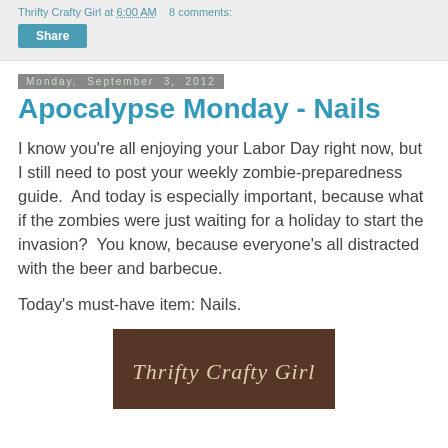Thrifty Crafty Girl at 6:00 AM   8 comments:
Share
Monday, September 3, 2012
Apocalypse Monday - Nails
I know you're all enjoying your Labor Day right now, but I still need to post your weekly zombie-preparedness guide.  And today is especially important, because what if the zombies were just waiting for a holiday to start the invasion?  You know, because everyone's all distracted with the beer and barbecue.

Today's must-have item: Nails.
[Figure (photo): Blog logo image showing 'Thrifty Crafty Girl' text in italic script on a dark brown textured background]